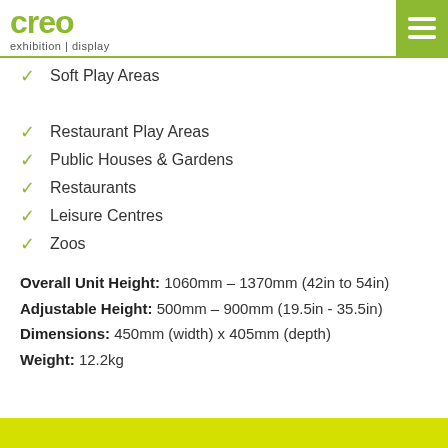creo exhibition | display
Soft Play Areas
Restaurant Play Areas
Public Houses & Gardens
Restaurants
Leisure Centres
Zoos
Overall Unit Height: 1060mm – 1370mm (42in to 54in)
Adjustable Height: 500mm – 900mm (19.5in - 35.5in)
Dimensions: 450mm (width) x 405mm (depth)
Weight: 12.2kg